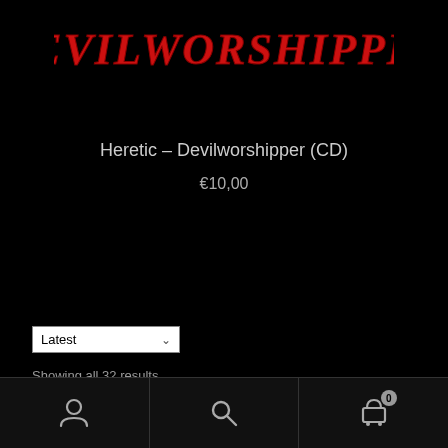[Figure (logo): DEVILWORSHIPPER text logo in red gothic/blackletter style on black background]
Heretic – Devilworshipper (CD)
€10,00
Latest (dropdown selector)
Showing all 32 results
Bottom navigation bar with user icon, search icon, and cart icon with badge 0